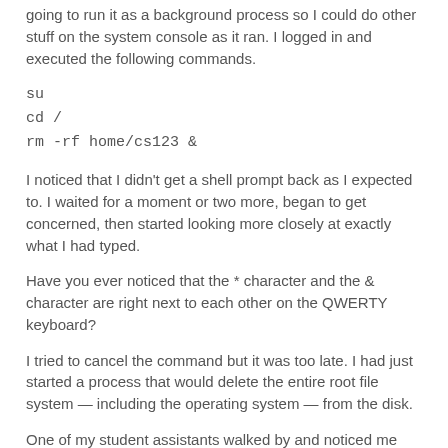going to run it as a background process so I could do other stuff on the system console as it ran. I logged in and executed the following commands.
su
cd /
rm -rf home/cs123 &
I noticed that I didn't get a shell prompt back as I expected to. I waited for a moment or two more, began to get concerned, then started looking more closely at exactly what I had typed.
Have you ever noticed that the * character and the & character are right next to each other on the QWERTY keyboard?
I tried to cancel the command but it was too late. I had just started a process that would delete the entire root file system — including the operating system — from the disk.
One of my student assistants walked by and noticed me